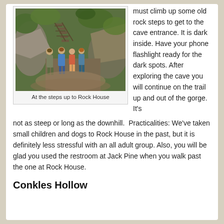[Figure (photo): Four people standing on a dirt trail in front of rock steps leading up through a forested rocky gorge area, on their way to Rock House cave.]
At the steps up to Rock House
must climb up some old rock steps to get to the cave entrance. It is dark inside. Have your phone flashlight ready for the dark spots. After exploring the cave you will continue on the trail up and out of the gorge. It's not as steep or long as the downhill.  Practicalities: We've taken small children and dogs to Rock House in the past, but it is definitely less stressful with an all adult group. Also, you will be glad you used the restroom at Jack Pine when you walk past the one at Rock House.
Conkles Hollow